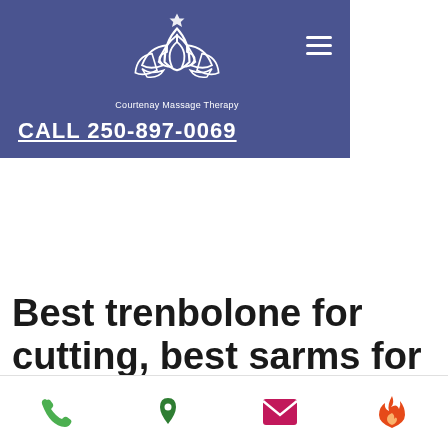[Figure (logo): Courtenay Massage Therapy logo with lotus flower symbol on purple/indigo background, with hamburger menu icon and phone number CALL 250-897-0069]
Best trenbolone for cutting, best sarms for fat burning
Best trenbolone for cutting, best sarms for fat burning - Legal steroids for sale
[Figure (photo): Dark blurred image, likely a product/supplement photo]
[Figure (infographic): Bottom navigation bar with phone, location, email, and fire icons]